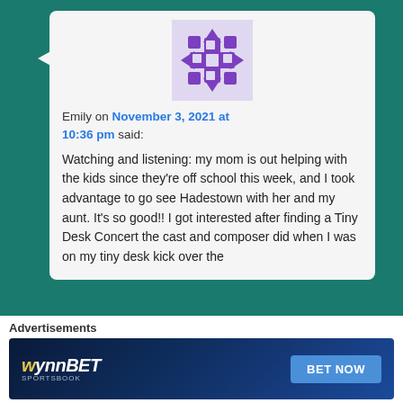[Figure (illustration): Purple geometric snowflake/quilt pattern avatar icon]
Emily on November 3, 2021 at 10:36 pm said:
Watching and listening: my mom is out helping with the kids since they're off school this week, and I took advantage to go see Hadestown with her and my aunt. It's so good!! I got interested after finding a Tiny Desk Concert the cast and composer did when I was on my tiny desk kick over the
Advertisements
[Figure (screenshot): WynnBET Sportsbook advertisement banner with 'BET NOW' button on dark blue background]